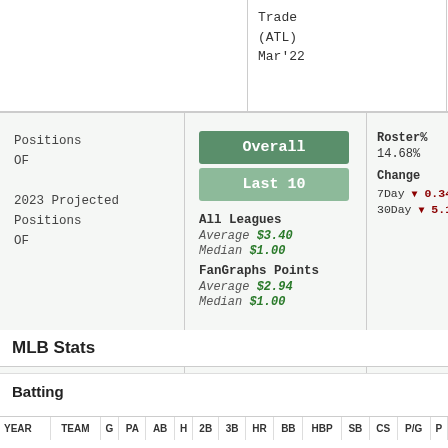Trade (ATL) Mar'22
Positions
OF
2023 Projected Positions
OF
Overall
Last 10
All Leagues
Average $3.40
Median $1.00
FanGraphs Points
Average $2.94
Median $1.00
Roster%
14.68%
Change
7Day ▼ 0.34%
30Day ▼ 5.12%
MLB Stats
Batting
| YEAR | TEAM | G | PA | AB | H | 2B | 3B | HR | BB | HBP | SB | CS | P/G | P |
| --- | --- | --- | --- | --- | --- | --- | --- | --- | --- | --- | --- | --- | --- | --- |